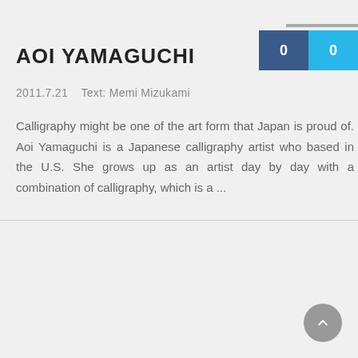AOI YAMAGUCHI
2011.7.21    Text: Memi Mizukami
Calligraphy might be one of the art form that Japan is proud of. Aoi Yamaguchi is a Japanese calligraphy artist who based in the U.S. She grows up as an artist day by day with a combination of calligraphy, which is a ...